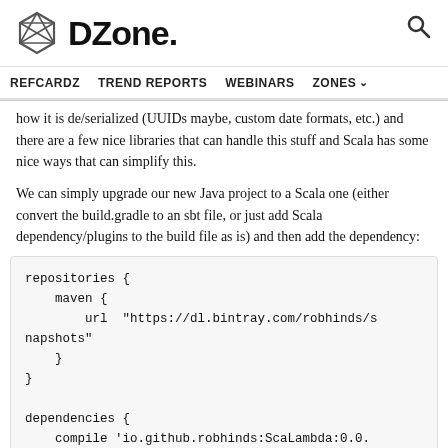DZone. REFCARDZ  TREND REPORTS  WEBINARS  ZONES
how it is de/serialized (UUIDs maybe, custom date formats, etc.) and there are a few nice libraries that can handle this stuff and Scala has some nice ways that can simplify this.
We can simply upgrade our new Java project to a Scala one (either convert the build.gradle to an sbt file, or just add Scala dependency/plugins to the build file as is) and then add the dependency:
repositories {
    maven {
        url  "https://dl.bintray.com/robhinds/snapshots"
    }
}

dependencies {
    compile 'io.github.robhinds:ScaLambda:0.0.1'